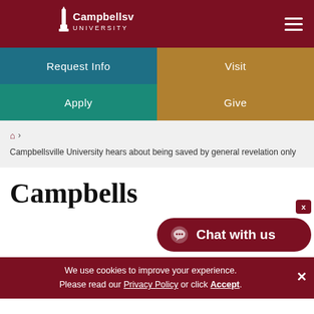[Figure (logo): Campbellsville University logo — white text and tower graphic on dark red background]
Request Info
Visit
Apply
Give
🏠 › Campbellsville University hears about being saved by general revelation only
Campbells…
Chat with us
We use cookies to improve your experience. Please read our Privacy Policy or click Accept.